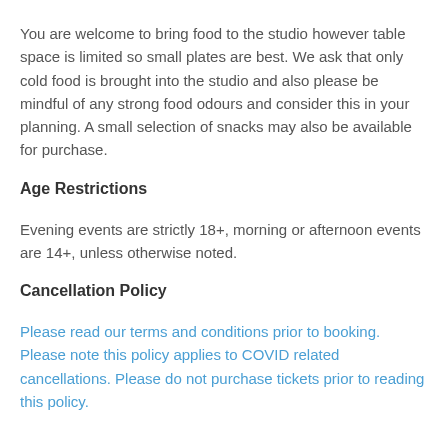You are welcome to bring food to the studio however table space is limited so small plates are best. We ask that only cold food is brought into the studio and also please be mindful of any strong food odours and consider this in your planning. A small selection of snacks may also be available for purchase.
Age Restrictions
Evening events are strictly 18+, morning or afternoon events are 14+, unless otherwise noted.
Cancellation Policy
Please read our terms and conditions prior to booking. Please note this policy applies to COVID related cancellations. Please do not purchase tickets prior to reading this policy.